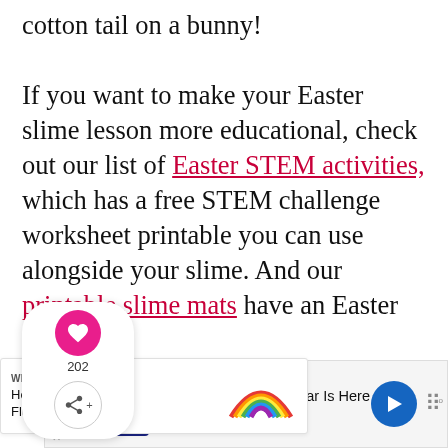cotton tail on a bunny!
If you want to make your Easter slime lesson more educational, check out our list of Easter STEM activities, which has a free STEM challenge worksheet printable you can use alongside your slime. And our printable slime mats have an Easter page, too!
[Figure (other): Social sharing widget with heart/like button showing 202 count and share button]
[Figure (other): What's Next banner: How to Make Fluffy... with rainbow thumbnail image]
[Figure (other): Advertisement: Petco - Your Pet's Summer Gear Is Here]